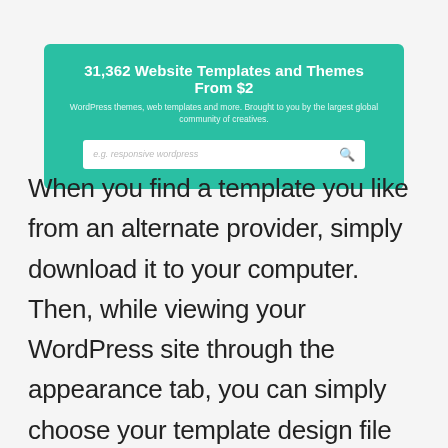[Figure (screenshot): Teal/green banner advertisement for Envato Market showing '31,362 Website Templates and Themes From $2' with a search bar]
When you find a template you like from an alternate provider, simply download it to your computer. Then, while viewing your WordPress site through the appearance tab, you can simply choose your template design file that you downloaded and upload it directly onto the site.